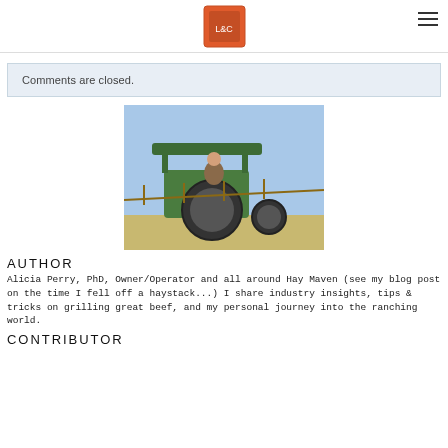[Logo: Lime & Cattle] [hamburger menu icon]
Comments are closed.
[Figure (photo): Person sitting on a green John Deere tractor outdoors, viewed from the side, with a canopy overhead and fencing/structures visible in the background.]
AUTHOR
Alicia Perry, PhD, Owner/Operator and all around Hay Maven (see my blog post on the time I fell off a haystack...) I share industry insights, tips & tricks on grilling great beef, and my personal journey into the ranching world.
CONTRIBUTOR